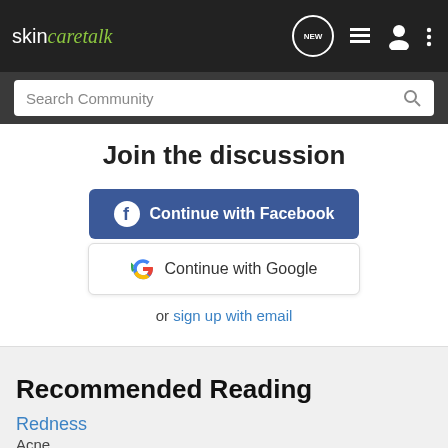skincaretalk
Search Community
Join the discussion
Continue with Facebook
Continue with Google
or sign up with email
Recommended Reading
Redness
Acne